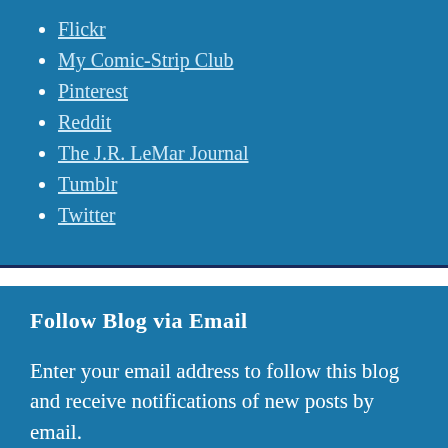Flickr
My Comic-Strip Club
Pinterest
Reddit
The J.R. LeMar Journal
Tumblr
Twitter
Follow Blog via Email
Enter your email address to follow this blog and receive notifications of new posts by email.